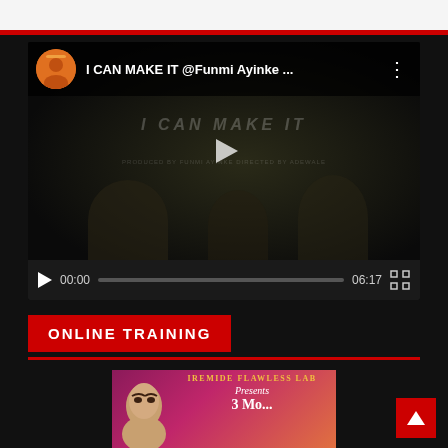[Figure (screenshot): Top white navigation bar with red bottom border]
[Figure (screenshot): YouTube-style video player showing 'I CAN MAKE IT @Funmi Ayinke ...' with avatar, dark video thumbnail with play button, time display 00:00, progress bar, duration 06:17, and fullscreen button]
ONLINE TRAINING
[Figure (screenshot): Promotional banner image for 'Iremide Flawless Lab Presents 3 Months...' with a face/model visible on the left side, gradient pink/orange background]